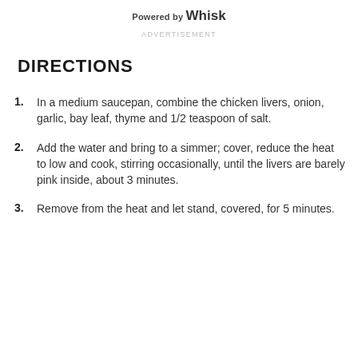Powered by Whisk
ADVERTISEMENT
DIRECTIONS
In a medium saucepan, combine the chicken livers, onion, garlic, bay leaf, thyme and 1/2 teaspoon of salt.
Add the water and bring to a simmer; cover, reduce the heat to low and cook, stirring occasionally, until the livers are barely pink inside, about 3 minutes.
Remove from the heat and let stand, covered, for 5 minutes.